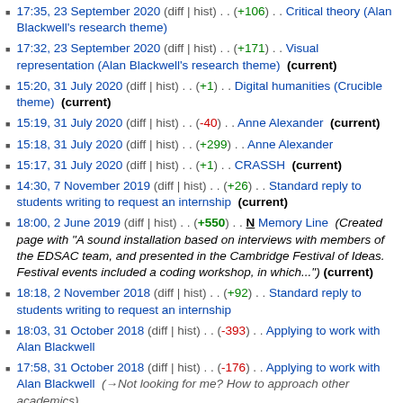17:35, 23 September 2020 (diff | hist) . . (+106) . . Critical theory (Alan Blackwell's research theme)
17:32, 23 September 2020 (diff | hist) . . (+171) . . Visual representation (Alan Blackwell's research theme)  (current)
15:20, 31 July 2020 (diff | hist) . . (+1) . . Digital humanities (Crucible theme)  (current)
15:19, 31 July 2020 (diff | hist) . . (-40) . . Anne Alexander  (current)
15:18, 31 July 2020 (diff | hist) . . (+299) . . Anne Alexander
15:17, 31 July 2020 (diff | hist) . . (+1) . . CRASSH  (current)
14:30, 7 November 2019 (diff | hist) . . (+26) . . Standard reply to students writing to request an internship  (current)
18:00, 2 June 2019 (diff | hist) . . (+550) . . N Memory Line  (Created page with "A sound installation based on interviews with members of the EDSAC team, and presented in the Cambridge Festival of Ideas. Festival events included a coding workshop, in which...")  (current)
18:18, 2 November 2018 (diff | hist) . . (+92) . . Standard reply to students writing to request an internship
18:03, 31 October 2018 (diff | hist) . . (-393) . . Applying to work with Alan Blackwell
17:58, 31 October 2018 (diff | hist) . . (-176) . . Applying to work with Alan Blackwell  (→Not looking for me? How to approach other academics)
17:56, 31 October 2018 (diff | hist) . . (+738) . . Standard reply to